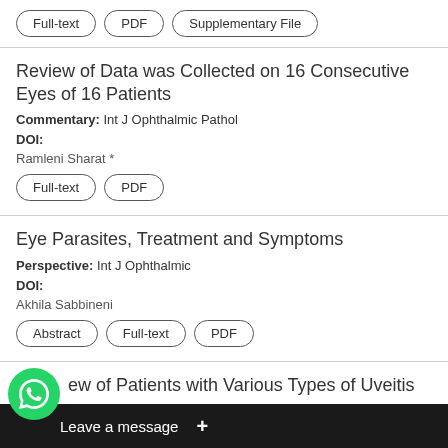Full-text | PDF | Supplementary File
Review of Data was Collected on 16 Consecutive Eyes of 16 Patients
Commentary: Int J Ophthalmic Pathol
DOI:
Ramleni Sharat *
Full-text | PDF
Eye Parasites, Treatment and Symptoms
Perspective: Int J Ophthalmic
DOI:
Akhila Sabbineni
Abstract | Full-text | PDF
ew of Patients with Various Types of Uveitis ...lues of Blood Counts
Pers...
DOI:
Leave a message  +